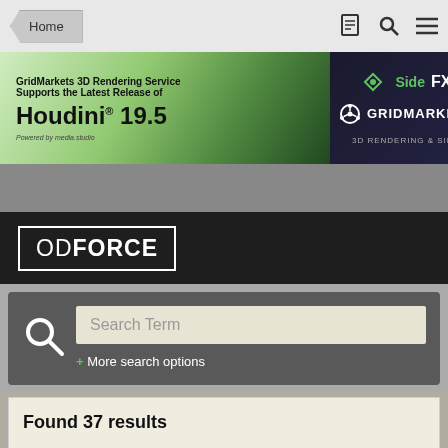Home
[Figure (screenshot): GridMarkets 3D Rendering Service advertisement banner showing Houdini 19.5 support with SideFX and GridMarkets logos]
[Figure (logo): ODFORCE logo in white text on dark background with white border]
Search Term
+ More search options
Found 37 results
Page 1 of 2
PREV
NEXT
SORT BY